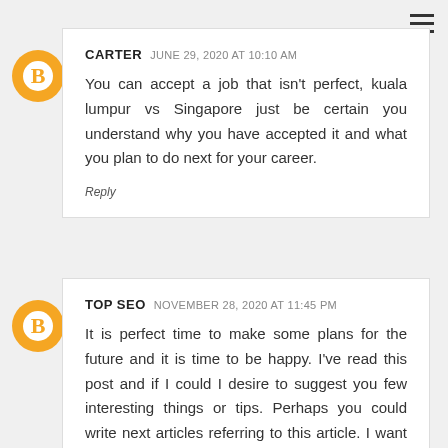CARTER  JUNE 29, 2020 AT 10:10 AM
You can accept a job that isn't perfect, kuala lumpur vs Singapore just be certain you understand why you have accepted it and what you plan to do next for your career.
Reply
TOP SEO  NOVEMBER 28, 2020 AT 11:45 PM
It is perfect time to make some plans for the future and it is time to be happy. I've read this post and if I could I desire to suggest you few interesting things or tips. Perhaps you could write next articles referring to this article. I want to read